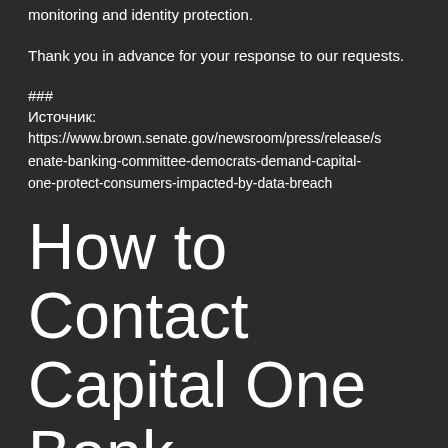monitoring and identity protection.
Thank you in advance for your response to our requests.
###
Источник: https://www.brown.senate.gov/newsroom/press/release/senate-banking-committee-democrats-demand-capital-one-protect-consumers-impacted-by-data-breach
How to Contact Capital One Bank Customer Service
Capital One offers extensive online banking options and